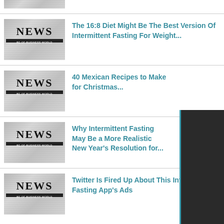[Figure (screenshot): News article list feed showing four articles with newspaper thumbnail images and teal-colored titles]
The 16:8 Diet Might Be The Best Version Of Intermittent Fasting For Weight...
40 Mexican Recipes to Make for Christmas...
Why Intermittent Fasting May Be a More Realistic New Year's Resolution for...
Twitter Is Fired Up About This Intermittent Fasting App's Ads